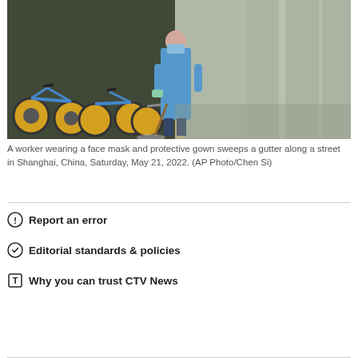[Figure (photo): A worker wearing a blue protective gown and face mask sweeps a gutter along a street in Shanghai. Rows of blue and yellow shared bicycles are parked along the left side of the street.]
A worker wearing a face mask and protective gown sweeps a gutter along a street in Shanghai, China, Saturday, May 21, 2022. (AP Photo/Chen Si)
Report an error
Editorial standards & policies
Why you can trust CTV News